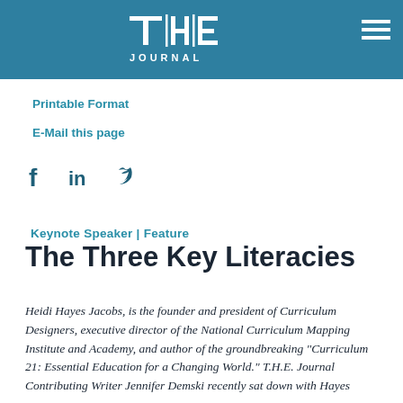[Figure (logo): THE Journal logo — white letters T|H|E over word JOURNAL on teal background bar]
Printable Format
E-Mail this page
[Figure (illustration): Social media icons: Facebook, LinkedIn, Twitter in dark teal]
Keynote Speaker | Feature
The Three Key Literacies
Heidi Hayes Jacobs, is the founder and president of Curriculum Designers, executive director of the National Curriculum Mapping Institute and Academy, and author of the groundbreaking "Curriculum 21: Essential Education for a Changing World." T.H.E. Journal Contributing Writer Jennifer Demski recently sat down with Hayes